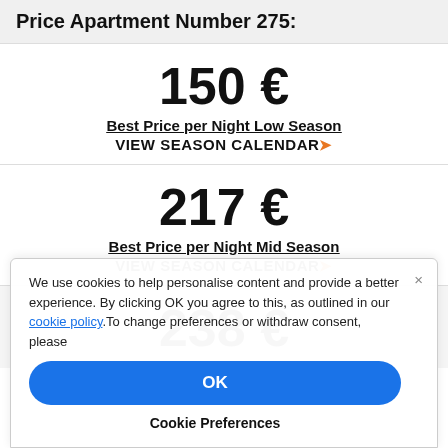Price Apartment Number 275:
150 €
Best Price per Night Low Season
VIEW SEASON CALENDAR
217 €
Best Price per Night Mid Season
VIEW SEASON CALENDAR
238 €
We use cookies to help personalise content and provide a better experience. By clicking OK you agree to this, as outlined in our cookie policy.To change preferences or withdraw consent, please
OK
Cookie Preferences